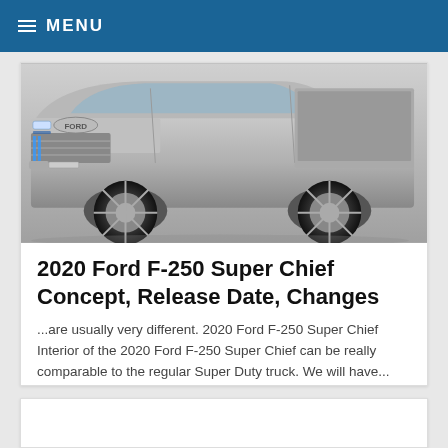≡ MENU
[Figure (photo): Silver Ford F-250 Super Chief concept truck, side/front view on grey background]
2020 Ford F-250 Super Chief Concept, Release Date, Changes
...are usually very different. 2020 Ford F-250 Super Chief Interior of the 2020 Ford F-250 Super Chief can be really comparable to the regular Super Duty truck. We will have...
FULL ARTICLE
NO COMMENTS